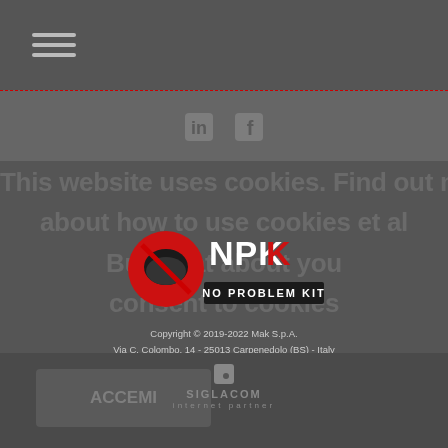☰ (hamburger menu icon)
[Figure (logo): NPK No Problem Kit logo — red circle with motorcycle helmet silhouette, white and red text NPK, subtitle NO PROBLEM KIT]
Copyright © 2019-2022 Mak S.p.A.
Via C. Colombo, 14 - 25013 Carpenedolo (BS) - Italy
P.IVA: 01840560989 - C.F.: 03086150178 - Registro Imprese di Brescia 322300
Capitale sociale: Euro 1.000.000 i.v.
[Privacy and Cookie Policy]
[Figure (logo): Siglacom internet partner logo — small square icon with dot, text SIGLACOM internet partner in grey]